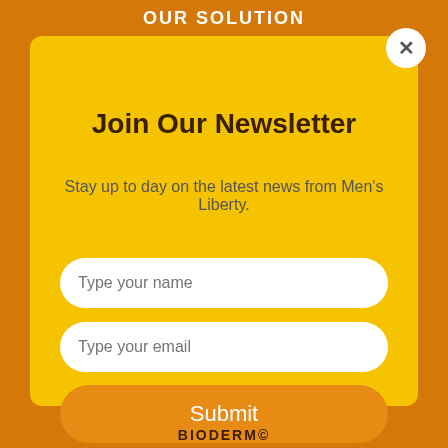OUR SOLUTION
Join Our Newsletter
Stay up to day on the latest news from Men's Liberty.
BIODERM©